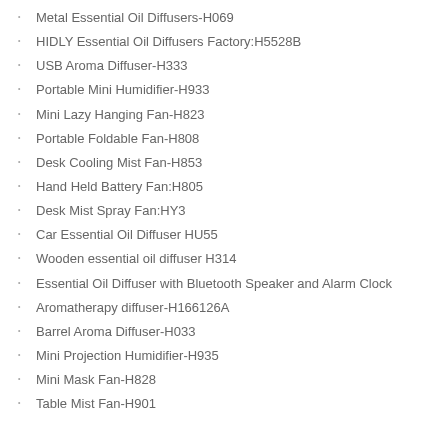Metal Essential Oil Diffusers-H069
HIDLY Essential Oil Diffusers Factory:H5528B
USB Aroma Diffuser-H333
Portable Mini Humidifier-H933
Mini Lazy Hanging Fan-H823
Portable Foldable Fan-H808
Desk Cooling Mist Fan-H853
Hand Held Battery Fan:H805
Desk Mist Spray Fan:HY3
Car Essential Oil Diffuser HU55
Wooden essential oil diffuser H314
Essential Oil Diffuser with Bluetooth Speaker and Alarm Clock
Aromatherapy diffuser-H166126A
Barrel Aroma Diffuser-H033
Mini Projection Humidifier-H935
Mini Mask Fan-H828
Table Mist Fan-H901